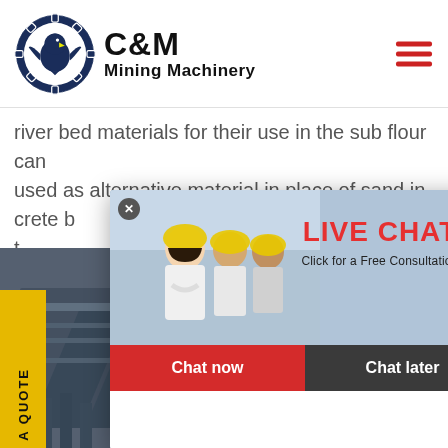[Figure (logo): C&M Mining Machinery logo with eagle and gear emblem, dark navy blue circle with gear teeth, eagle silhouette inside, text C&M large bold, Mining Machinery below]
river bed materials for their use in the sub flour can used as alternative material in place of sand in crete b ... orved t ...
[Figure (screenshot): Live Chat popup overlay with workers in yellow hard hats, LIVE CHAT in red bold text, Click for a Free Consultation, Chat now (red button) and Chat later (dark button)]
[Figure (photo): Industrial mining machinery equipment photo in lower left area]
[Figure (photo): Female customer service operator with headset on right side widget, Click to Chat blue button, Enquiry italic text below]